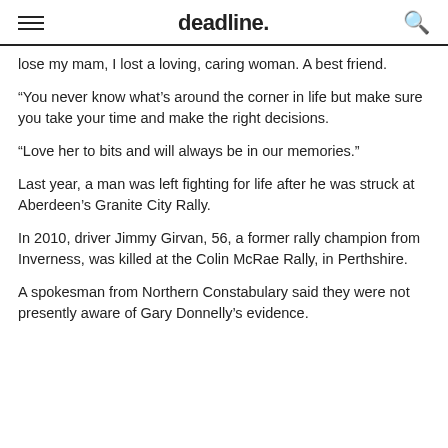deadline.
lose my mam, I lost a loving, caring woman. A best friend.
“You never know what’s around the corner in life but make sure you take your time and make the right decisions.
“Love her to bits and will always be in our memories.”
Last year, a man was left fighting for life after he was struck at Aberdeen’s Granite City Rally.
In 2010, driver Jimmy Girvan, 56, a former rally champion from Inverness, was killed at the Colin McRae Rally, in Perthshire.
A spokesman from Northern Constabulary said they were not presently aware of Gary Donnelly’s evidence.